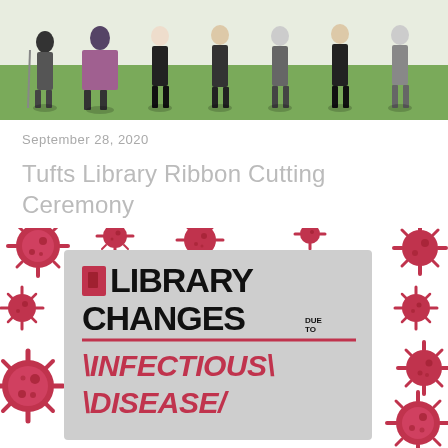[Figure (photo): Outdoor photo of people standing on grass, socially distanced, some holding sticks/poles, taken during a ribbon cutting ceremony at Tufts Library]
September 28, 2020
Tufts Library Ribbon Cutting Ceremony
[Figure (infographic): Infographic poster with red virus/coronavirus illustrations surrounding a gray card reading 'LIBRARY CHANGES due to INFECTIOUS DISEASE']